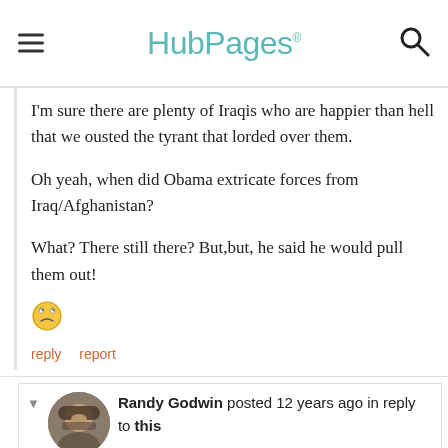HubPages
I'm sure there are plenty of Iraqis who are happier than hell that we ousted the tyrant that lorded over them.

Oh yeah, when did Obama extricate forces from Iraq/Afghanistan?

What? There still there? But,but, he said he would pull them out!
[Figure (illustration): Rolling eyes / exasperated smiley face emoji]
reply   report
Randy Godwin posted 12 years ago in reply to this